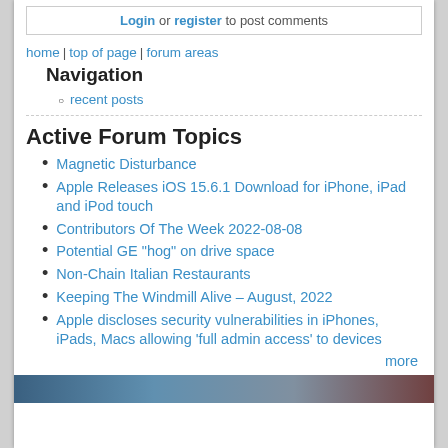Login or register to post comments
home | top of page | forum areas
Navigation
recent posts
Active Forum Topics
Magnetic Disturbance
Apple Releases iOS 15.6.1 Download for iPhone, iPad and iPod touch
Contributors Of The Week 2022-08-08
Potential GE "hog" on drive space
Non-Chain Italian Restaurants
Keeping The Windmill Alive – August, 2022
Apple discloses security vulnerabilities in iPhones, iPads, Macs allowing 'full admin access' to devices
more
[Figure (photo): Partial photo visible at bottom of page]